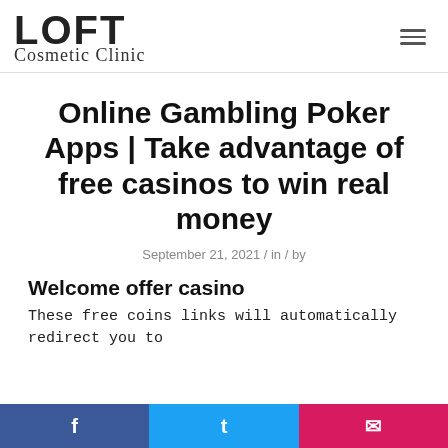[Figure (logo): LOFT Cosmetic Clinic logo with large bold LOFT text and script subtitle]
Online Gambling Poker Apps | Take advantage of free casinos to win real money
September 21, 2021 / in / by
Welcome offer casino
These free coins links will automatically redirect you to